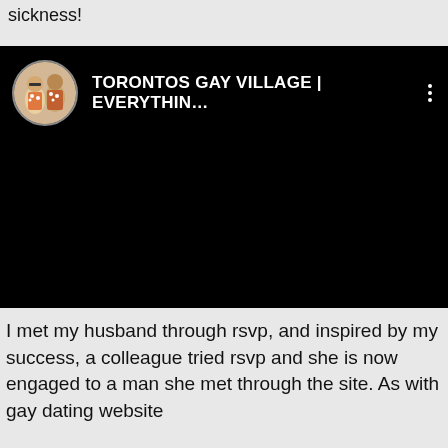sickness!
[Figure (screenshot): A social media video post from 'TORONTOS GAY VILLAGE | EVERYTHIN...' with a black video thumbnail and channel avatar showing two people in floral shirts]
I met my husband through rsvp, and inspired by my success, a colleague tried rsvp and she is now engaged to a man she met through the site. As with gay dating website